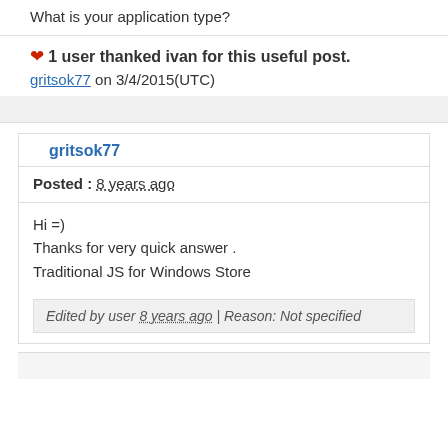What is your application type?
❤ 1 user thanked ivan for this useful post. gritsok77 on 3/4/2015(UTC)
gritsok77
Posted : 8 years ago
Hi =)
Thanks for very quick answer .
Traditional JS for Windows Store
Edited by user 8 years ago | Reason: Not specified